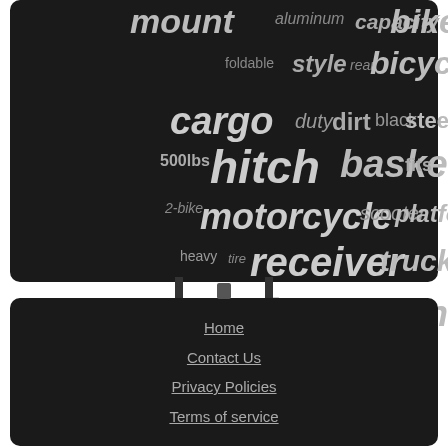[Figure (infographic): Word cloud on dark background with terms related to bike/cargo carriers: mount, aluminum, capacity, bike, foldable, style, rear, bicycle, cargo, duty, dirt, black, steel, 500lbs, hitch, basket, fits, 2-bike, motorcycle, scooter, platform, heavy, tire, receiver, truck, carrier, mounted]
Home
Contact Us
Privacy Policies
Terms of service